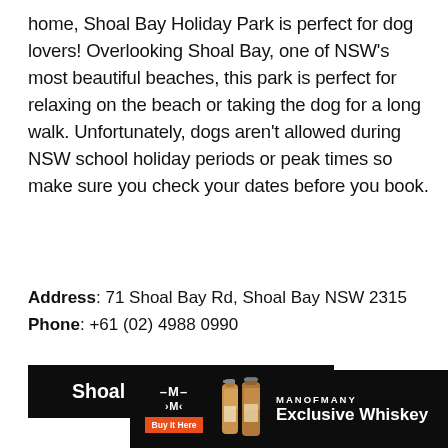home, Shoal Bay Holiday Park is perfect for dog lovers! Overlooking Shoal Bay, one of NSW's most beautiful beaches, this park is perfect for relaxing on the beach or taking the dog for a long walk. Unfortunately, dogs aren't allowed during NSW school holiday periods or peak times so make sure you check your dates before you book.
Address: 71 Shoal Bay Rd, Shoal Bay NSW 2315
Phone: +61 (02) 4988 0990
Shoal Bay Holiday Park
[Figure (photo): Outdoor scene with trees and plants, appears to be a nature/park setting with golden foliage]
[Figure (screenshot): Advertisement banner for ManOfMany Exclusive Whiskey with dark background, logo, Buy It Here orange button, whiskey bottle images, and text MANOFMANY Exclusive Whiskey]